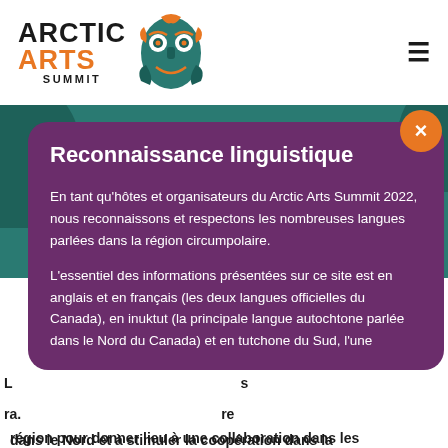ARCTIC ARTS SUMMIT
Reconnaissance linguistique
En tant qu'hôtes et organisateurs du Arctic Arts Summit 2022, nous reconnaissons et respectons les nombreuses langues parlées dans la région circumpolaire.
L'essentiel des informations présentées sur ce site est en anglais et en français (les deux langues officielles du Canada), en inuktut (la principale langue autochtone parlée dans le Nord du Canada) et en tutchone du Sud, l'une dans le Nord et à stimuler la coopération dans la région pour donner lieu à une collaboration dans les